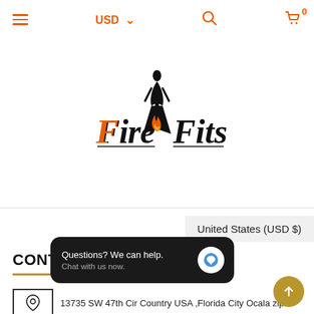≡  USD ▾  🔍  🛒 0
[Figure (logo): FireFits logo with stylized text 'FireFits' in bold italic black font, flame graphic, and silhouette of a woman in a dress]
United States (USD $)
CONTACT US
[Figure (infographic): Chat widget popup with dark background reading 'Questions? We can help. Chat with us now.' with blue speech bubble icon]
13735 SW 47th Cir Country USA ,Florida City Ocala zip